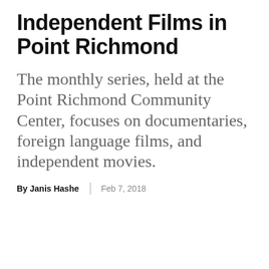Independent Films in Point Richmond
The monthly series, held at the Point Richmond Community Center, focuses on documentaries, foreign language films, and independent movies.
By Janis Hashe | Feb 7, 2018